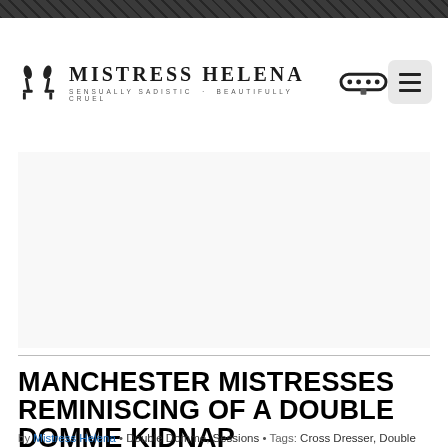Mistress Helena – Sensually Sadistic – Beautifully Cruel
MANCHESTER MISTRESSES REMINISCING OF A DOUBLE DOMME KIDNAP
by Mistress Helena • Double Domme, Sessions • Tags: Cross Dresser, Double Domme, Double Domme Kidnap, Manchester Mistress, Manchester Mistresses, Mistress Teressa, Sissy slut
[Figure (photo): Partial photo visible at bottom of page, black and white, appears to show a person]